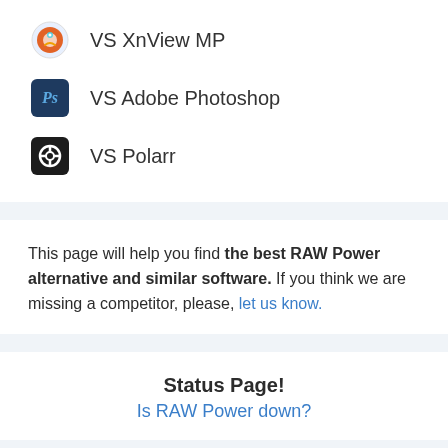VS XnView MP
VS Adobe Photoshop
VS Polarr
This page will help you find the best RAW Power alternative and similar software. If you think we are missing a competitor, please, let us know.
Status Page!
Is RAW Power down?
✨ Featured ✨